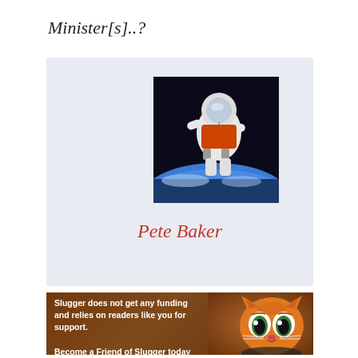Minister[s]..?
[Figure (illustration): Astronaut floating in space above Earth, wearing white spacesuit with jetpack, against a dark sky with Earth's blue horizon visible below.]
Pete Baker
[Figure (photo): Orange tabby cat with large sad puppy eyes (Puss in Boots meme style), brown background.]
Slugger does not get any funding and relies on readers like you for support.

Become a Friend of Slugger today and help keep us lit!